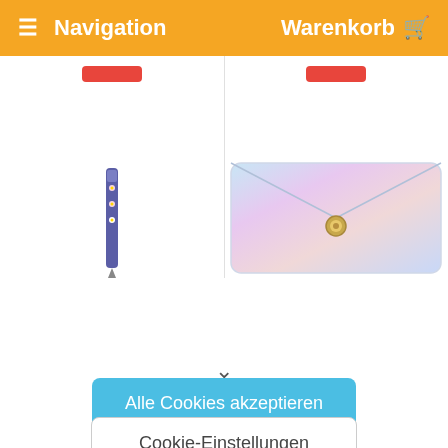≡ Navigation   Warenkorb 🛒
[Figure (screenshot): Two product cells with red 'add to cart' buttons at top]
[Figure (screenshot): Two product images: a floral pen on left, an iridescent pink envelope purse on right]
Auf unserer Website machen wir und Drittanbieter von Cookies Gebrauch. Wir verwenden diese Cookies, um Ihre bevorzugten Einstellungen zu speichern, um Einblick in das Verhalten der
‹ (chevron down expand icon)
Alle Cookies akzeptieren
Cookie-Einstellungen